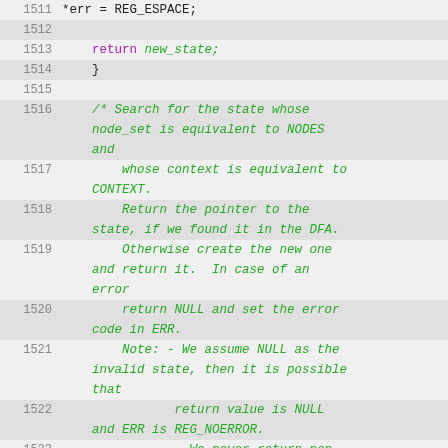Source code listing, lines 1511–1527
1511    *err = REG_ESPACE;
1512
1513    return new_state;
1514    }
1515
1516    /* Search for the state whose node_set is equivalent to NODES and
1517        whose context is equivalent to CONTEXT.
1518        Return the pointer to the state, if we found it in the DFA.
1519        Otherwise create the new one and return it.  In case of an error
1520        return NULL and set the error code in ERR.
1521        Note: - We assume NULL as the invalid state, then it is possible that
1522               return value is NULL and ERR is REG_NOERROR.
1523               - We never return non-NULL value in case of any errors, it is for
1524               optimization.   */
1525
1526    static re_dfastate_t *
1527    internal_function __attribute_warn_unused_result__